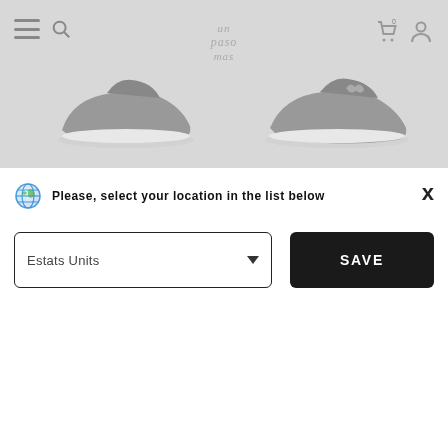[Figure (screenshot): E-commerce website header with hamburger menu, search icon, 'un paso mas' script logo, cart icon with 0 badge, and user/profile icon on a light gray background. Two gray slip-on shoes are visible in the banner area.]
X
Please, select your location in the list below
Estats Units
SAVE